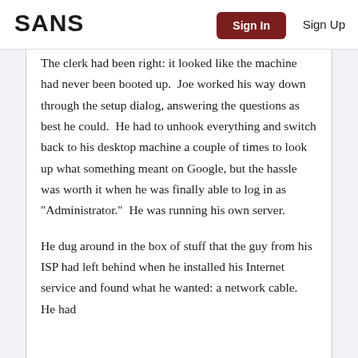SANS | Sign In | Sign Up
The clerk had been right: it looked like the machine had never been booted up.  Joe worked his way down through the setup dialog, answering the questions as best he could.  He had to unhook everything and switch back to his desktop machine a couple of times to look up what something meant on Google, but the hassle was worth it when he was finally able to log in as "Administrator."  He was running his own server.
He dug around in the box of stuff that the guy from his ISP had left behind when he installed his Internet service and found what he wanted: a network cable.  He had